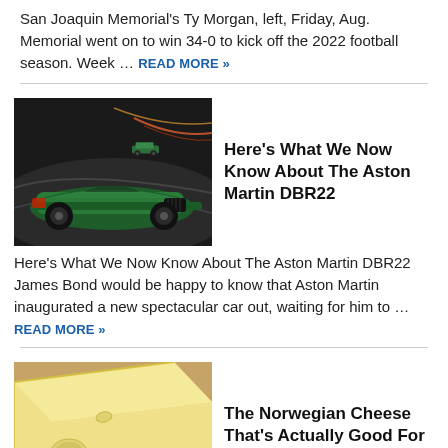San Joaquin Memorial's Ty Morgan, left, Friday, Aug. Memorial went on to win 34-0 to kick off the 2022 football season. Week ... READ MORE »
[Figure (photo): Green Aston Martin DBR22 sports car on a racing track with another vintage racing car in the background]
Here's What We Now Know About The Aston Martin DBR22
Here's What We Now Know About The Aston Martin DBR22 James Bond would be happy to know that Aston Martin inaugurated a new spectacular car out, waiting for him to ... READ MORE »
[Figure (photo): Slices of Norwegian Jarlsberg cheese with holes visible, close-up shot]
The Norwegian Cheese That's Actually Good For You
Jarlsberg cheese. Cheese has the power to make